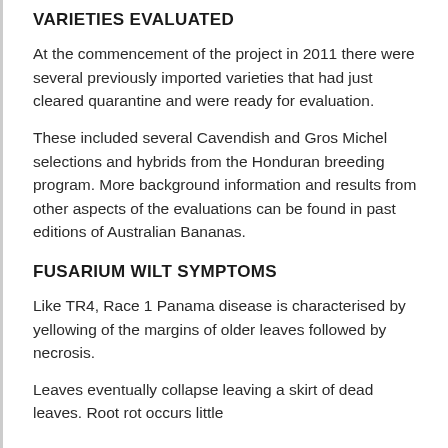VARIETIES EVALUATED
At the commencement of the project in 2011 there were several previously imported varieties that had just cleared quarantine and were ready for evaluation.
These included several Cavendish and Gros Michel selections and hybrids from the Honduran breeding program. More background information and results from other aspects of the evaluations can be found in past editions of Australian Bananas.
FUSARIUM WILT SYMPTOMS
Like TR4, Race 1 Panama disease is characterised by yellowing of the margins of older leaves followed by necrosis.
Leaves eventually collapse leaving a skirt of dead leaves. Root rot occurs little...